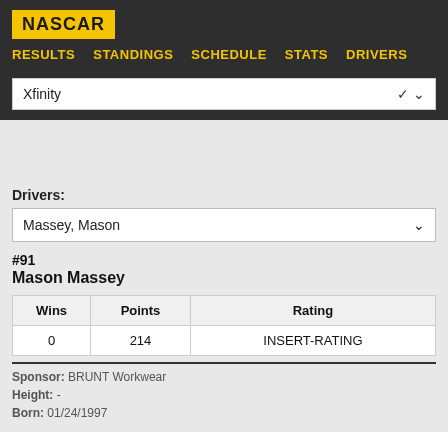NASCAR
RESULTS  STANDINGS  SCHEDULE  STATS  DRIVERS
Xfinity
Drivers:
Massey, Mason
#91
Mason Massey
| Wins | Points | Rating |
| --- | --- | --- |
| 0 | 214 | INSERT-RATING |
Sponsor: BRUNT Workwear
Height: -
Born: 01/24/1997